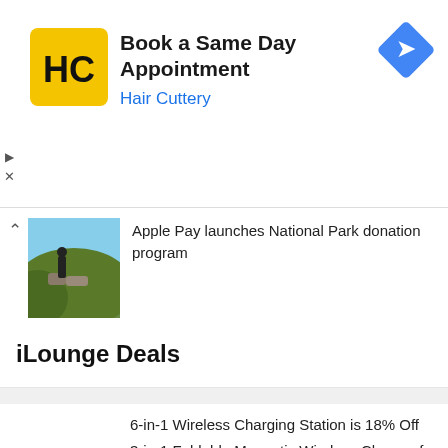[Figure (infographic): Hair Cuttery advertisement banner with HC logo (yellow square with black H and C letters), text 'Book a Same Day Appointment' and 'Hair Cuttery' in blue, and a blue diamond direction arrow icon on the right]
Apple Pay launches National Park donation program
[Figure (photo): Small thumbnail photo of a person hiking on rocky terrain outdoors with green foliage]
iLounge Deals
6-in-1 Wireless Charging Station is 18% Off
3-in-1 Foldable Magnetic Wireless Charger for iPhone